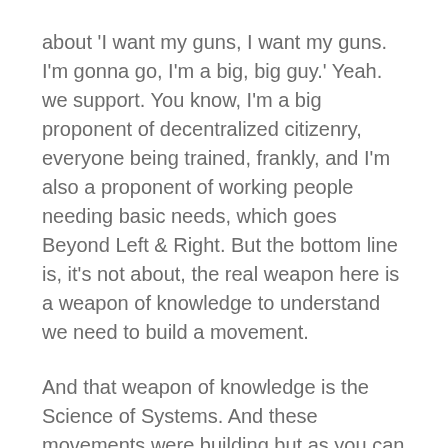about 'I want my guns, I want my guns. I'm gonna go, I'm a big, big guy.' Yeah. we support. You know, I'm a big proponent of decentralized citizenry, everyone being trained, frankly, and I'm also a proponent of working people needing basic needs, which goes Beyond Left & Right. But the bottom line is, it's not about, the real weapon here is a weapon of knowledge to understand we need to build a movement.
And that weapon of knowledge is the Science of Systems. And these movements were building but as you can see from this graph, the Establishment is in a very powerful position now because there are no movements. The unions have sold out working people, the Right Wing brands, anytime you say 'workers unite', oh, that's socialist.